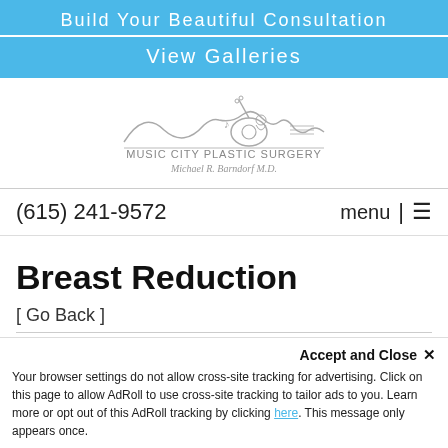Build Your Beautiful Consultation
View Galleries
[Figure (logo): Music City Plastic Surgery logo with guitar-shaped illustration and text 'Michael R. Barndorf M.D.']
(615) 241-9572   menu | ≡
Breast Reduction
[ Go Back ]
Accept and Close ✕  Your browser settings do not allow cross-site tracking for advertising. Click on this page to allow AdRoll to use cross-site tracking to tailor ads to you. Learn more or opt out of this AdRoll tracking by clicking here. This message only appears once.